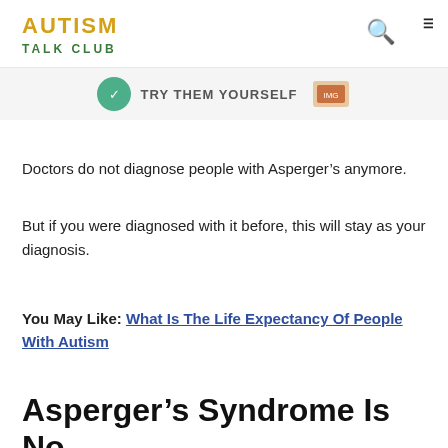AUTISM TALK CLUB
[Figure (screenshot): Banner advertisement strip with circular icon on left, 'TRY THEM YOURSELF' text in center, and small reddish product image on right]
Doctors do not diagnose people with Asperger’s anymore.
But if you were diagnosed with it before, this will stay as your diagnosis.
You May Like: What Is The Life Expectancy Of People With Autism
Asperger’s Syndrome Is No